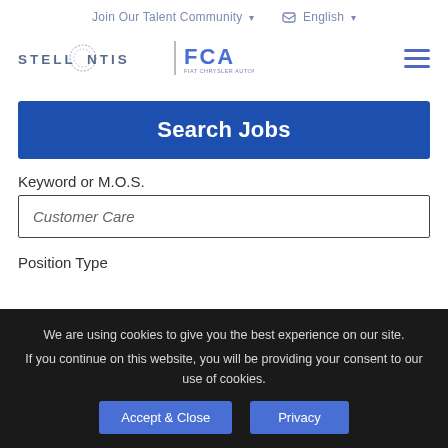Join Our Talent Community  English
[Figure (logo): Stellantis and FCA logos with vertical separator, hamburger menu icon on the right]
Search Jobs
Keyword or M.O.S.
Customer Care
Position Type
We are using cookies to give you the best experience on our site. If you continue on this website, you will be providing your consent to our use of cookies.
Accept & Close   Privacy